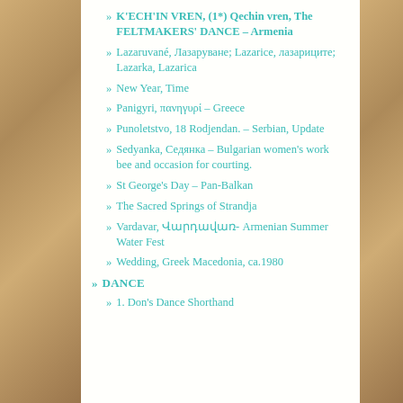K'ECH'IN VREN, (1*) Qechin vren, The FELTMAKERS' DANCE – Armenia
Lazaruvané, Лазаруване; Lazarice, лазариците; Lazarka, Lazarica
New Year, Time
Panigyri, πανηγυρί – Greece
Punoletstvo, 18 Rodjendan. – Serbian, Update
Sedyanka, Седянка – Bulgarian women's work bee and occasion for courting.
St George's Day – Pan-Balkan
The Sacred Springs of Strandja
Vardavar, Վարդավառ- Armenian Summer Water Fest
Wedding, Greek Macedonia, ca.1980
DANCE
1. Don's Dance Shorthand